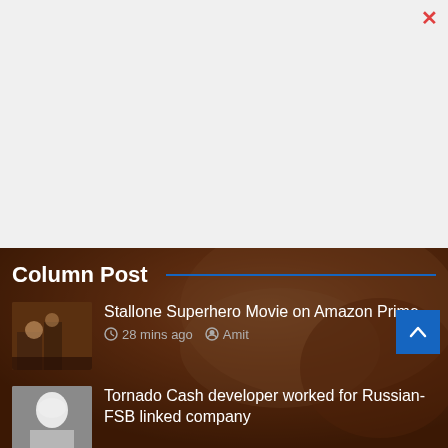[Figure (screenshot): Light gray top area of a mobile app/browser UI with a red X/close button at top right]
Column Post
[Figure (photo): Small thumbnail showing an action/street scene with figures]
Stallone Superhero Movie on Amazon Prime
28 mins ago   Amit
[Figure (photo): Small thumbnail showing an older person with white/gray hair]
Tornado Cash developer worked for Russian-FSB linked company